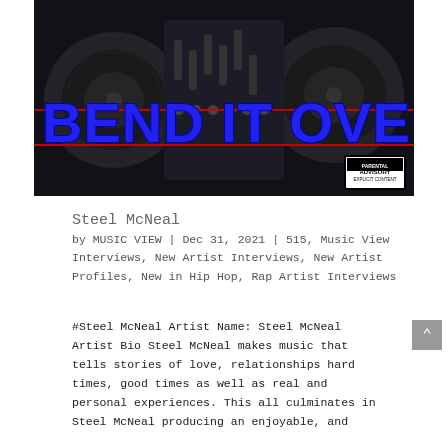[Figure (illustration): Album cover for 'Bend It Over' by Steel McNeal. Dark background showing DJ turntables and mixer equipment. Large blue bold text 'BEND IT OVER' overlaid on image with red horizontal lines above and below the text. Parental Advisory Explicit Content label in lower right corner.]
Steel McNeal
by MUSIC VIEW | Dec 31, 2021 | 515, Music View Interviews, New Artist Interviews, New Artist Profiles, New in Hip Hop, Rap Artist Interviews
#Steel McNeal Artist Name: Steel McNeal Artist Bio Steel McNeal makes music that tells stories of love, relationships hard times, good times as well as real and personal experiences. This all culminates in Steel McNeal producing an enjoyable, and